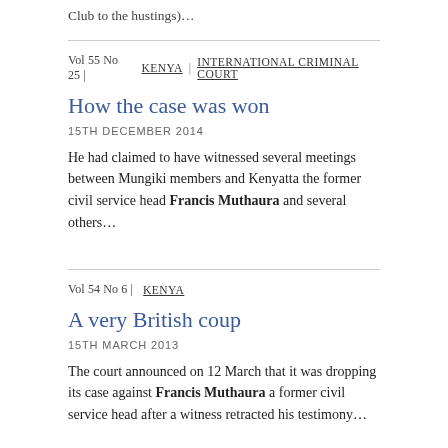Club to the hustings)…
Vol 55 No 25 | KENYA | INTERNATIONAL CRIMINAL COURT
How the case was won
15TH DECEMBER 2014
He had claimed to have witnessed several meetings between Mungiki members and Kenyatta the former civil service head Francis Muthaura and several others…
Vol 54 No 6 | KENYA
A very British coup
15TH MARCH 2013
The court announced on 12 March that it was dropping its case against Francis Muthaura a former civil service head after a witness retracted his testimony…